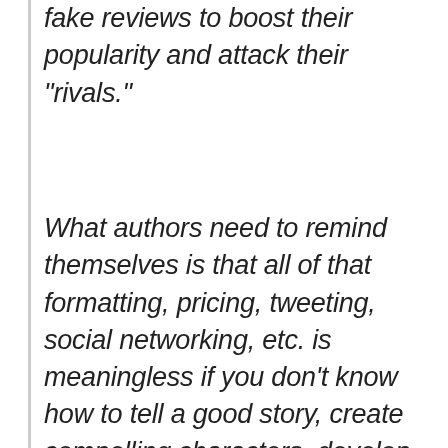fake reviews to boost their popularity and attack their "rivals."
What authors need to remind themselves is that all of that formatting, pricing, tweeting, social networking, etc. is meaningless if you don't know how to tell a good story, create compelling characters, develop a strong voice, set a scene, establish a sense of place, or manage point-of-view.